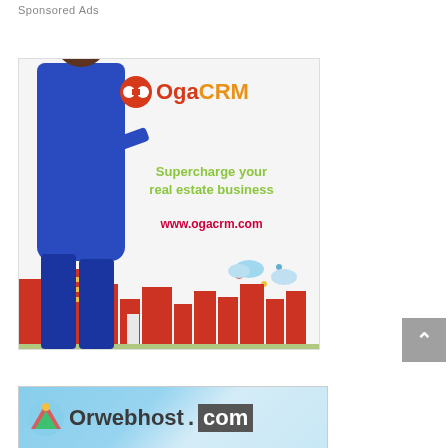Sponsored Ads
[Figure (illustration): OgaCRM advertisement banner showing a woman in blue outfit holding a phone, with a colorful cartoon cityscape background. Text reads: OgaCRM logo, Supercharge your real estate business, www.ogacrm.com]
[Figure (illustration): Orwebhost.com advertisement banner showing partial logo with colorful umbrella icon and text 'Orwebhost.com']